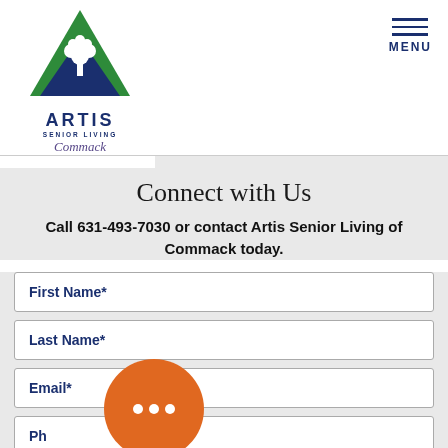[Figure (logo): Artis Senior Living Commack logo with green triangle and white tree above blue triangle]
MENU
Connect with Us
Call 631-493-7030 or contact Artis Senior Living of Commack today.
First Name*
Last Name*
Email*